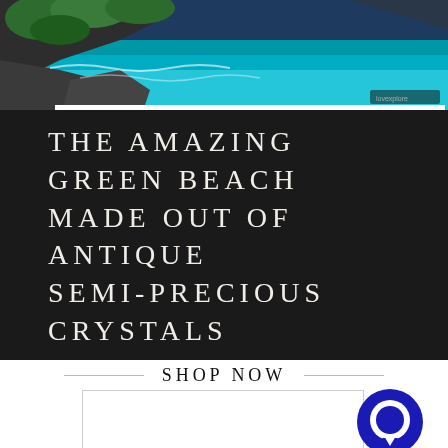[Figure (photo): Coastal beach scene showing dark rocky cliffs with green vegetation and vivid turquoise ocean water below]
THE AMAZING GREEN BEACH MADE OUT OF ANTIQUE SEMI-PRECIOUS CRYSTALS
SHOP NOW